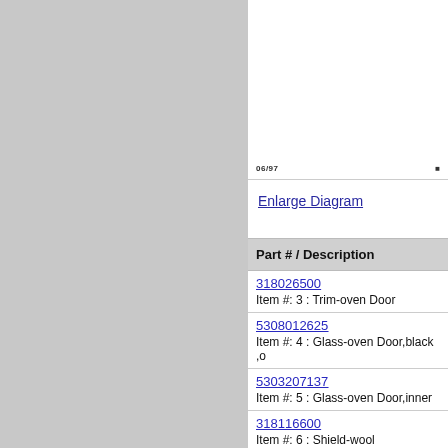[Figure (schematic): Partial oven diagram with label '06/97' and a small marker dot in the bottom-right corner]
Enlarge Diagram
| Part # / Description |
| --- |
| 318026500 | Item #: 3 : Trim-oven Door |
| 5308012625 | Item #: 4 : Glass-oven Door,black ,o |
| 5303207137 | Item #: 5 : Glass-oven Door,inner |
| 318116600 | Item #: 6 : Shield-wool |
| 318345800 | Item #: 6 : Rack-oven,lower
Replaces: 3201495 |
| 5303209887 | Item #: 6 : Glide-broiler Rack |